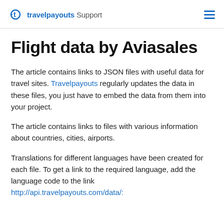travelpayouts Support
Flight data by Aviasales
The article contains links to JSON files with useful data for travel sites. Travelpayouts regularly updates the data in these files, you just have to embed the data from them into your project.
The article contains links to files with various information about countries, cities, airports.
Translations for different languages have been created for each file. To get a link to the required language, add the language code to the link http://api.travelpayouts.com/data/: